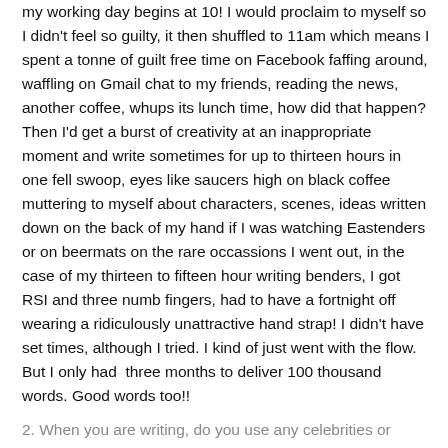my working day begins at 10! I would proclaim to myself so I didn't feel so guilty, it then shuffled to 11am which means I spent a tonne of guilt free time on Facebook faffing around, waffling on Gmail chat to my friends, reading the news, another coffee, whups its lunch time, how did that happen? Then I'd get a burst of creativity at an inappropriate moment and write sometimes for up to thirteen hours in one fell swoop, eyes like saucers high on black coffee muttering to myself about characters, scenes, ideas written down on the back of my hand if I was watching Eastenders or on beermats on the rare occassions I went out, in the case of my thirteen to fifteen hour writing benders, I got RSI and three numb fingers, had to have a fortnight off wearing a ridiculously unattractive hand strap! I didn't have set times, although I tried. I kind of just went with the flow. But I only had  three months to deliver 100 thousand words. Good words too!!
2. When you are writing, do you use any celebrities or